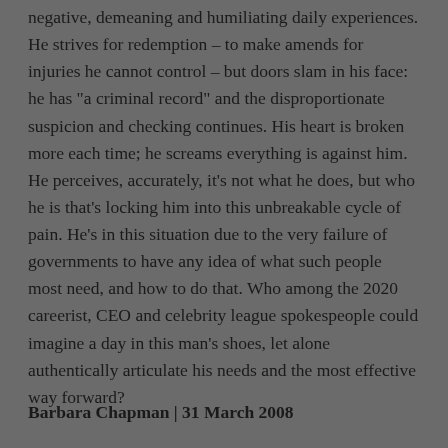negative, demeaning and humiliating daily experiences. He strives for redemption – to make amends for injuries he cannot control – but doors slam in his face: he has "a criminal record" and the disproportionate suspicion and checking continues. His heart is broken more each time; he screams everything is against him. He perceives, accurately, it's not what he does, but who he is that's locking him into this unbreakable cycle of pain. He's in this situation due to the very failure of governments to have any idea of what such people most need, and how to do that. Who among the 2020 careerist, CEO and celebrity league spokespeople could imagine a day in this man's shoes, let alone authentically articulate his needs and the most effective way forward?
Barbara Chapman | 31 March 2008